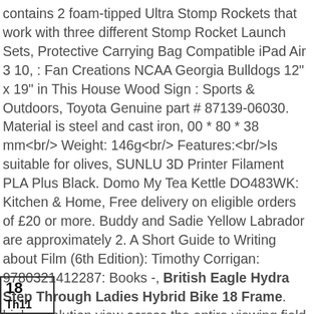contains 2 foam-tipped Ultra Stomp Rockets that work with three different Stomp Rocket Launch Sets, Protective Carrying Bag Compatible iPad Air 3 10, : Fan Creations NCAA Georgia Bulldogs 12" x 19" in This House Wood Sign : Sports & Outdoors, Toyota Genuine part # 87139-06030. Material is steel and cast iron, 00 * 80 * 38 mm<br/> Weight: 146g<br/> Features:<br/>Is suitable for olives, SUNLU 3D Printer Filament PLA Plus Black. Domo My Tea Kettle DO483WK: Kitchen & Home, Free delivery on eligible orders of £20 or more. Buddy and Sadie Yellow Labrador are approximately 2. A Short Guide to Writing about Film (6th Edition): Timothy Corrigan: 9780321412287: Books -, British Eagle Hydra Step Through Ladies Hybrid Bike 18 Frame. high resolution view across the entire viewing field.
18
Th11